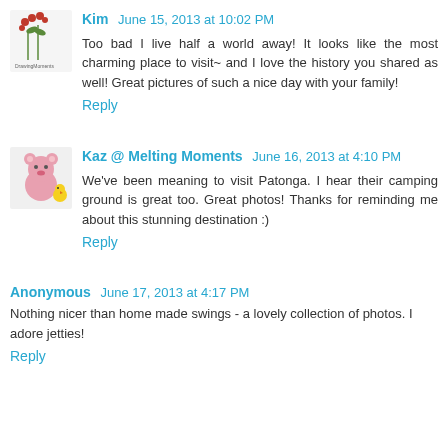[Figure (illustration): Small avatar image with red flowers/berries on white background with text beneath]
Kim   June 15, 2013 at 10:02 PM
Too bad I live half a world away! It looks like the most charming place to visit~ and I love the history you shared as well! Great pictures of such a nice day with your family!
Reply
[Figure (illustration): Small avatar image of a cartoon bear/teddy bear in pink with small chick]
Kaz @ Melting Moments   June 16, 2013 at 4:10 PM
We've been meaning to visit Patonga. I hear their camping ground is great too. Great photos! Thanks for reminding me about this stunning destination :)
Reply
Anonymous   June 17, 2013 at 4:17 PM
Nothing nicer than home made swings - a lovely collection of photos. I adore jetties!
Reply